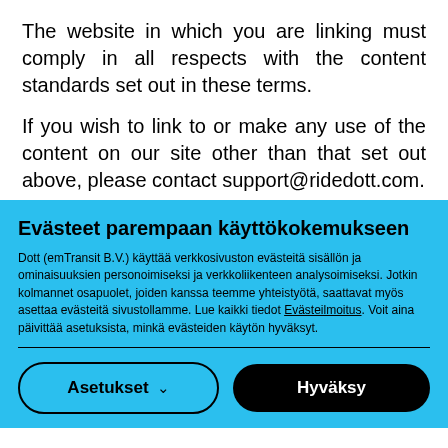The website in which you are linking must comply in all respects with the content standards set out in these terms.
If you wish to link to or make any use of the content on our site other than that set out above, please contact support@ridedott.com.
Evästeet parempaan käyttökokemukseen
Dott (emTransit B.V.) käyttää verkkosivuston evästeitä sisällön ja ominaisuuksien personoimiseksi ja verkkoliikenteen analysoimiseksi. Jotkin kolmannet osapuolet, joiden kanssa teemme yhteistyötä, saattavat myös asettaa evästeitä sivustollamme. Lue kaikki tiedot Evästeilmoitus. Voit aina päivittää asetuksista, minkä evästeiden käytön hyväksyt.
Asetukset
Hyväksy